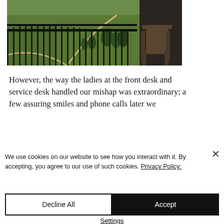[Figure (photo): Outdoor balcony view overlooking a green golf course with trees, winding paths, and a wooden Adirondack chair visible on the right side of the balcony with dark iron railings.]
However, the way the ladies at the front desk and service desk handled our mishap was extraordinary; a few assuring smiles and phone calls later we
We use cookies on our website to see how you interact with it. By accepting, you agree to our use of such cookies. Privacy Policy:
Decline All
Accept
Settings